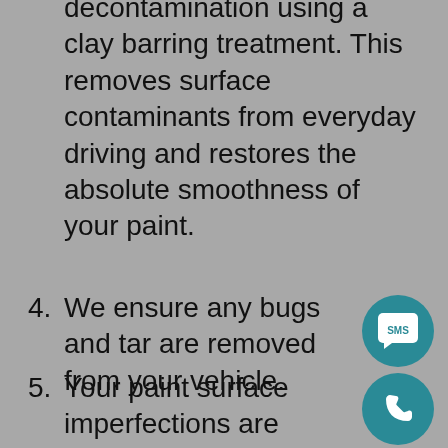3. We perform a mechanical decontamination using a clay barring treatment. This removes surface contaminants from everyday driving and restores the absolute smoothness of your paint.
4. We ensure any bugs and tar are removed from your vehicle.
5. Your paint surface imperfections are corrected or removed (not hidden with a